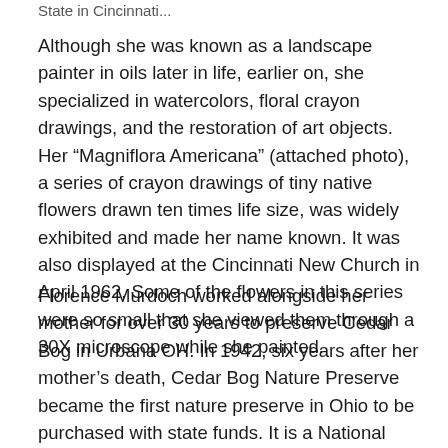State in Cincinnati...
Although she was known as a landscape painter in oils later in life, earlier on, she specialized in watercolors, floral crayon drawings, and the restoration of art objects. Her “Magniflora Americana” (attached photo), a series of crayon drawings of tiny native flowers drawn ten times life size, was widely exhibited and made her name known. It was also displayed at the Cincinnati New Church in April 1962. Some of the flowers in this series were so small that she viewed them through a 30X microscope while she painted.
Florence Murdoch worked alongside her mother for over 30 years to preserve Cedar Bog in Urbana OH. In 1942, six years after her mother’s death, Cedar Bog Nature Preserve became the first nature preserve in Ohio to be purchased with state funds. It is a National Natural